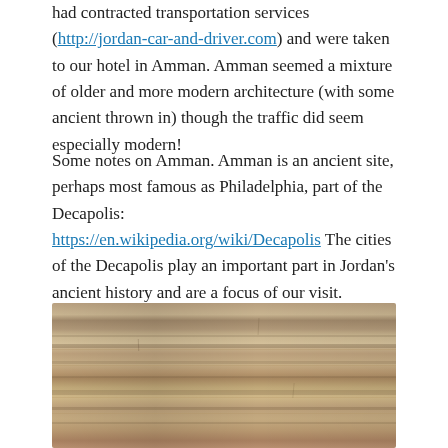had contracted transportation services (http://jordan-car-and-driver.com) and were taken to our hotel in Amman. Amman seemed a mixture of older and more modern architecture (with some ancient thrown in) though the traffic did seem especially modern!
Some notes on Amman. Amman is an ancient site, perhaps most famous as Philadelphia, part of the Decapolis: https://en.wikipedia.org/wiki/Decapolis The cities of the Decapolis play an important part in Jordan's ancient history and are a focus of our visit.
[Figure (photo): Close-up photograph of ancient stone architecture, showing layered limestone or sandstone blocks with carved molding detail, typical of Greco-Roman or ancient Near Eastern construction.]